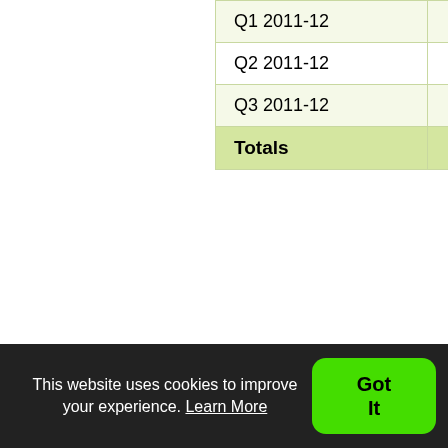|  |  |  |
| --- | --- | --- |
| Q1 2011-12 | 12 | 10,344 |
| Q2 2011-12 | 13 | 10,344 |
| Q3 2011-12 | 6 | 10,936 |
| Totals | 76 | 12,987 |
Q1 201...
| Date | Transaction | Service Ar... |
| --- | --- | --- |
| 12 Apr 10 | 5000071421 | Miscellaneous Non R... |
| 26 Apr 10 | 5000074321 | Miscellaneous Non R... |
| 29 Apr 10 | 5000075455 | Human Resou... |
| 11 May 10 | 5000077381 | Human Resou... |
This website uses cookies to improve your experience. Learn More